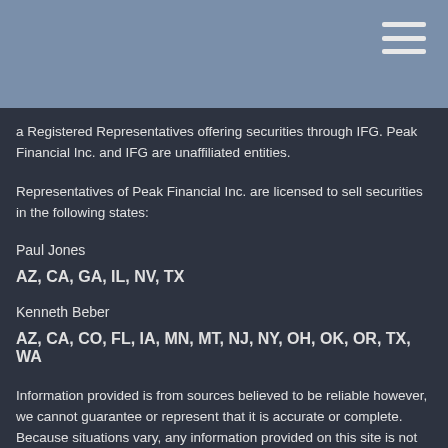a Registered Representatives offering securities through IFG. Peak Financial Inc. and IFG are unaffiliated entities.
Representatives of Peak Financial Inc. are licensed to sell securities in the following states:
Paul Jones
AZ, CA, GA, IL, NV, TX
Kenneth Beber
AZ, CA, CO, FL, IA, MN, MT, NJ, NY, OH, OK, OR, TX, WA
Information provided is from sources believed to be reliable however, we cannot guarantee or represent that it is accurate or complete. Because situations vary, any information provided on this site is not intended to indicate suitability for any particular investor. Hyperlinks are provided as a courtesy and should not be deemed as an endorsement. When you link to a third party website you are leaving our site and assume total